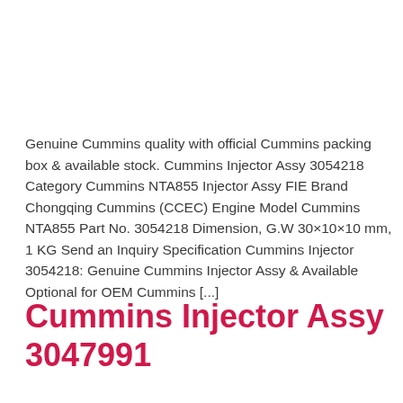Genuine Cummins quality with official Cummins packing box & available stock. Cummins Injector Assy 3054218 Category Cummins NTA855 Injector Assy FIE Brand Chongqing Cummins (CCEC) Engine Model Cummins NTA855 Part No. 3054218 Dimension, G.W 30×10×10 mm, 1 KG Send an Inquiry Specification Cummins Injector 3054218: Genuine Cummins Injector Assy & Available Optional for OEM Cummins [...]
Cummins Injector Assy 3047991